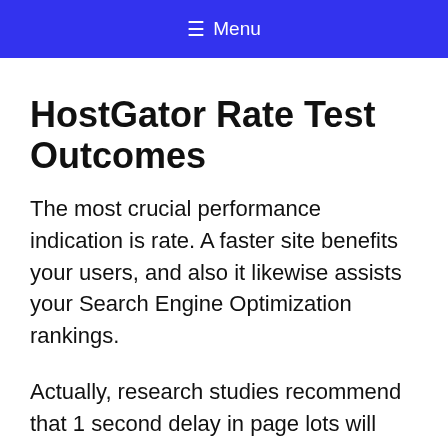☰ Menu
HostGator Rate Test Outcomes
The most crucial performance indication is rate. A faster site benefits your users, and also it likewise assists your Search Engine Optimization rankings.
Actually, research studies recommend that 1 second delay in page lots will